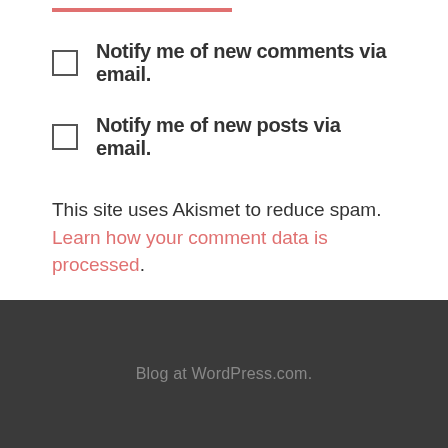Notify me of new comments via email.
Notify me of new posts via email.
This site uses Akismet to reduce spam. Learn how your comment data is processed.
Blog at WordPress.com.